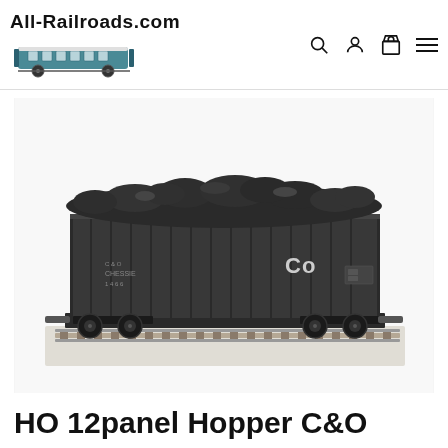All-Railroads.com
[Figure (photo): HO scale model train hopper car C&O loaded with coal, on model railroad track, dark gray/black color with C&O markings]
HO 12panel Hopper C&O